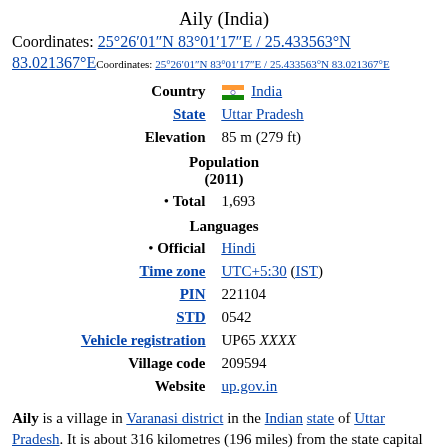Aily (India)
Coordinates: 25°26′01″N 83°01′17″E / 25.433563°N 83.021367°E Coordinates: 25°26′01″N 83°01′17″E / 25.433563°N 83.021367°E
| Label | Value |
| --- | --- |
| Country | India |
| State | Uttar Pradesh |
| Elevation | 85 m (279 ft) |
| Population (2011) |  |
| • Total | 1,693 |
| Languages |  |
| • Official | Hindi |
| Time zone | UTC+5:30 (IST) |
| PIN | 221104 |
| STD | 0542 |
| Vehicle registration | UP65 XXXX |
| Village code | 209594 |
| Website | up.gov.in |
Aily is a village in Varanasi district in the Indian state of Uttar Pradesh. It is about 316 kilometres (196 miles) from the state capital Lucknow and 812 kilometres (505 miles) from the national